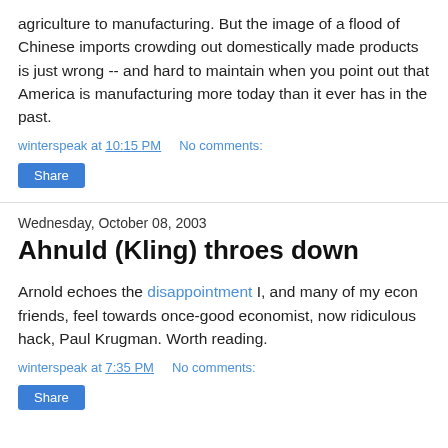agriculture to manufacturing. But the image of a flood of Chinese imports crowding out domestically made products is just wrong -- and hard to maintain when you point out that America is manufacturing more today than it ever has in the past.
winterspeak at 10:15 PM   No comments:
Share
Wednesday, October 08, 2003
Ahnuld (Kling) throes down
Arnold echoes the disappointment I, and many of my econ friends, feel towards once-good economist, now ridiculous hack, Paul Krugman. Worth reading.
winterspeak at 7:35 PM   No comments:
Share